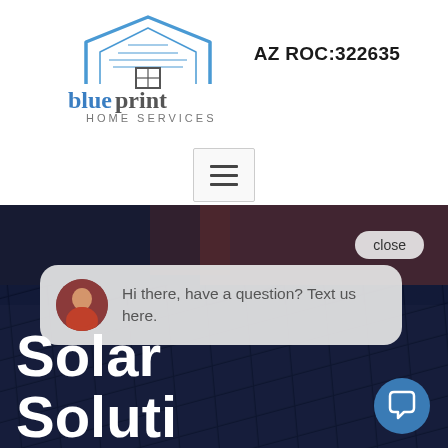[Figure (logo): Blueprint Home Services logo with house icon in blue/gray]
AZ ROC:322635
[Figure (other): Hamburger menu button (three horizontal lines)]
[Figure (photo): Dark photo of solar panels on a roof as page background]
close
Hi there, have a question? Text us here.
Solar